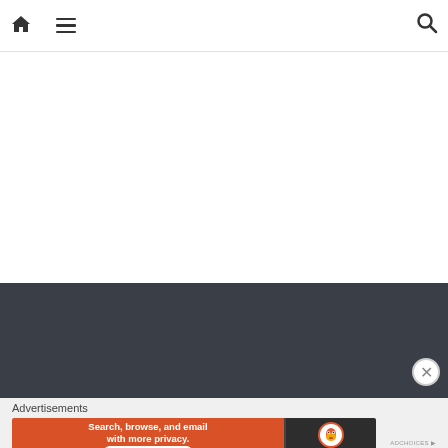Home | Menu | Search
[Figure (screenshot): White empty content area below navigation bar]
[Figure (screenshot): Dark gray footer/background area]
Advertisements
[Figure (screenshot): DuckDuckGo advertisement banner: 'Search, browse, and email with more privacy. All in One Free App' with DuckDuckGo duck logo on dark right panel]